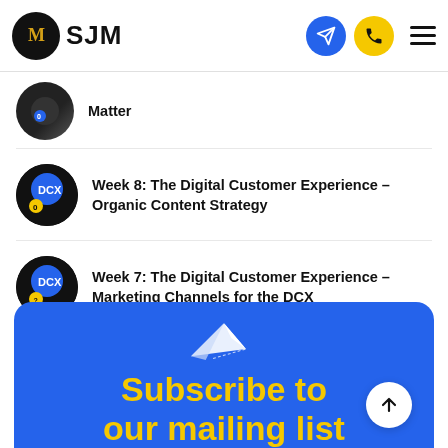SDM
Matter
Week 8: The Digital Customer Experience – Organic Content Strategy
Week 7: The Digital Customer Experience – Marketing Channels for the DCX
[Figure (illustration): Blue banner with paper plane icon and yellow bold text 'Subscribe to our mailing list' and a white up-arrow button]
Subscribe to our mailing list